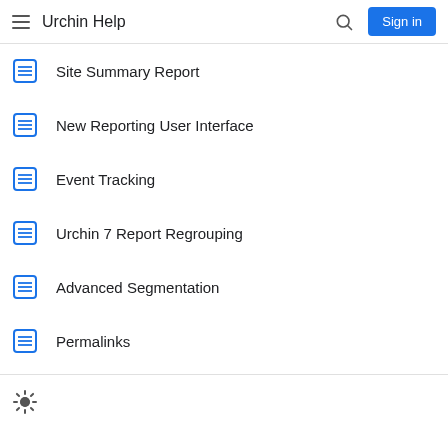Urchin Help
Site Summary Report
New Reporting User Interface
Event Tracking
Urchin 7 Report Regrouping
Advanced Segmentation
Permalinks
[Figure (illustration): Dark mode toggle icon (gear/brightness symbol) in footer area]